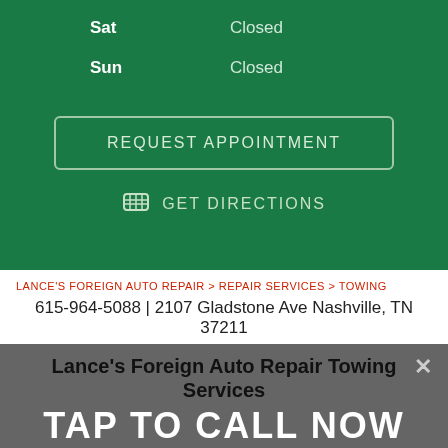| Day | Status |
| --- | --- |
| Sat | Closed |
| Sun | Closed |
REQUEST APPOINTMENT
GET DIRECTIONS
LANCE'S FOREIGN AUTO REPAIR > REPAIR SERVICES > TOWING
615-964-5088 | 2107 Gladstone Ave Nashville, TN 37211
Lance's Foreign Auto Repair Towing Services
TAP TO CALL NOW
615-964-5088
Dealing with a car that just won't start up due to weather, collision, or electrical issues? With just one call, our towing specialists will be there to take the vehicle back to our